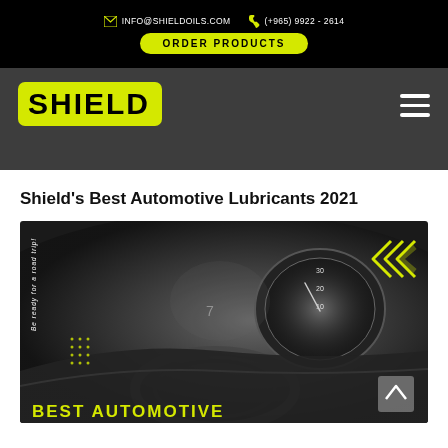INFO@SHIELDOILS.COM  (+965) 9922-2614  ORDER PRODUCTS
[Figure (logo): Shield logo in yellow rounded rectangle with bold black text 'SHIELD']
Shield's Best Automotive Lubricants 2021
[Figure (photo): Close-up photo of a car dashboard speedometer/gauge cluster in dark monochrome. Yellow chevron arrows in top right. Text overlay: 'Be ready for a road trip!' vertically on left side. Dot grid pattern on left. BEST AUTOMOTIVE text in yellow at bottom.]